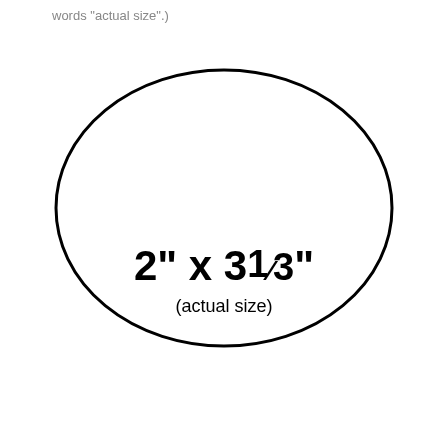words "actual size".)
[Figure (illustration): An oval/ellipse shape outline (black border, white fill) with bold text inside reading '2" x 3⅓"' and below it '(actual size)']